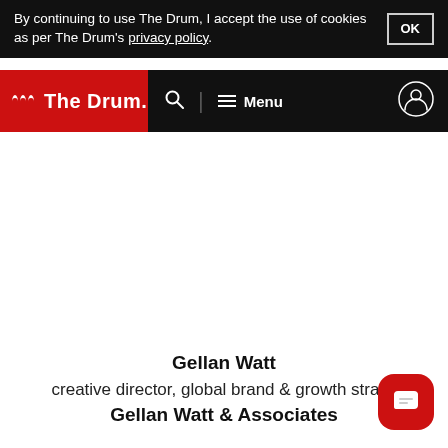By continuing to use The Drum, I accept the use of cookies as per The Drum's privacy policy. OK
The Drum — Search | Menu
Gellan Watt
creative director, global brand & growth stra…
Gellan Watt & Associates